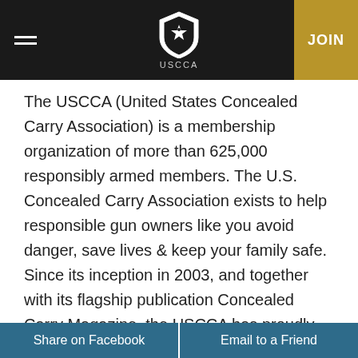USCCA — JOIN
The USCCA (United States Concealed Carry Association) is a membership organization of more than 625,000 responsibly armed members. The U.S. Concealed Carry Association exists to help responsible gun owners like you avoid danger, save lives & keep your family safe. Since its inception in 2003, and together with its flagship publication Concealed Carry Magazine, the USCCA has proudly supported a community of hundreds of thousands of patriots...
More From This Author →
Share on Facebook   Email to a Friend